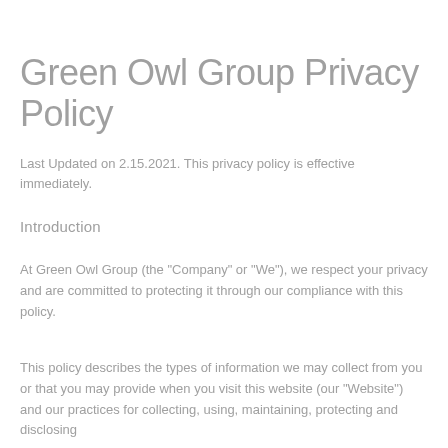Green Owl Group Privacy Policy
Last Updated on 2.15.2021. This privacy policy is effective immediately.
Introduction
At Green Owl Group (the "Company" or "We"), we respect your privacy and are committed to protecting it through our compliance with this policy.
This policy describes the types of information we may collect from you or that you may provide when you visit this website (our "Website") and our practices for collecting, using, maintaining, protecting and disclosing